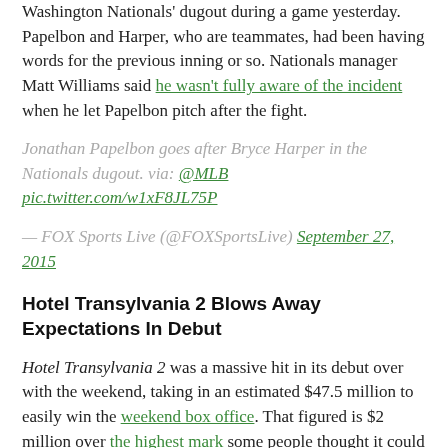Washington Nationals' dugout during a game yesterday. Papelbon and Harper, who are teammates, had been having words for the previous inning or so. Nationals manager Matt Williams said he wasn't fully aware of the incident when he let Papelbon pitch after the fight.
Jonathan Papelbon goes after Bryce Harper in the Nationals dugout. via: @MLB pic.twitter.com/w1xF8JL75P
— FOX Sports Live (@FOXSportsLive) September 27, 2015
Hotel Transylvania 2 Blows Away Expectations In Debut
Hotel Transylvania 2 was a massive hit in its debut over with the weekend, taking in an estimated $47.5 million to easily win the weekend box office. That figured is $2 million over the highest mark some people thought it could get and $5 million